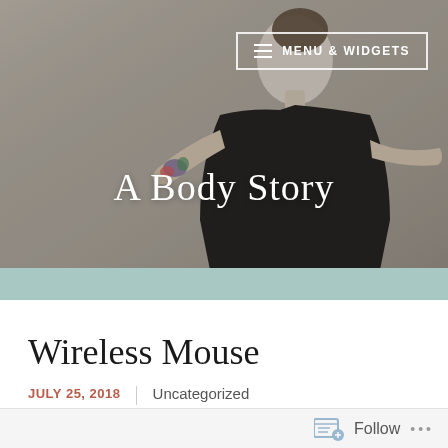[Figure (photo): Header photo of a woman in a black outfit dancing or moving, with a tattoo on her arm, against a light gray background. A teal/mint colored band runs below the photo.]
MENU & WIDGETS
A Body Story
Wireless Mouse
JULY 25, 2018 | Uncategorized
Follow ...